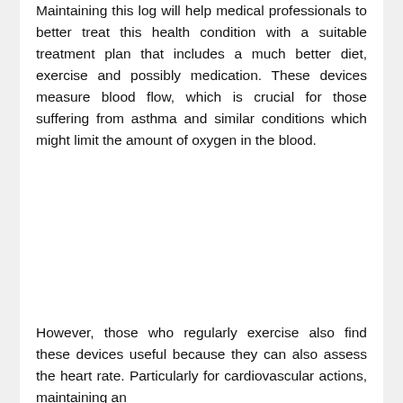Maintaining this log will help medical professionals to better treat this health condition with a suitable treatment plan that includes a much better diet, exercise and possibly medication. These devices measure blood flow, which is crucial for those suffering from asthma and similar conditions which might limit the amount of oxygen in the blood.
However, those who regularly exercise also find these devices useful because they can also assess the heart rate. Particularly for cardiovascular actions, maintaining an